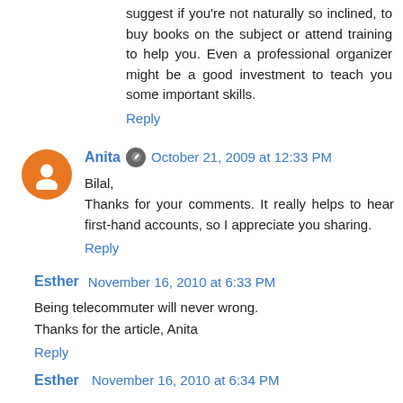suggest if you're not naturally so inclined, to buy books on the subject or attend training to help you. Even a professional organizer might be a good investment to teach you some important skills.
Reply
Anita  October 21, 2009 at 12:33 PM
Bilal,
Thanks for your comments. It really helps to hear first-hand accounts, so I appreciate you sharing.
Reply
Esther  November 16, 2010 at 6:33 PM
Being telecommuter will never wrong.
Thanks for the article, Anita
Reply
Esther  November 16, 2010 at 6:34 PM